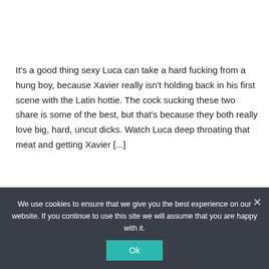It's a good thing sexy Luca can take a hard fucking from a hung boy, because Xavier really isn't holding back in his first scene with the Latin hottie. The cock sucking these two share is some of the best, but that's because they both really love big, hard, uncut dicks. Watch Luca deep throating that meat and getting Xavier [...]
READ MORE
We use cookies to ensure that we give you the best experience on our website. If you continue to use this site we will assume that you are happy with it.
Ok